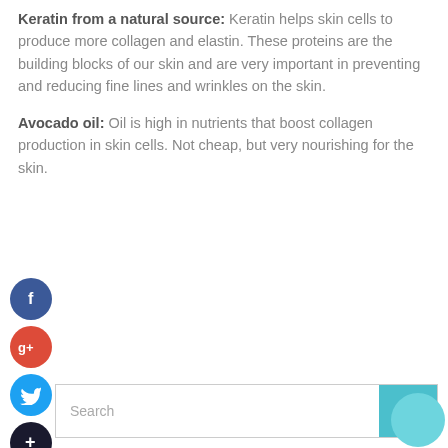Keratin from a natural source: Keratin helps skin cells to produce more collagen and elastin. These proteins are the building blocks of our skin and are very important in preventing and reducing fine lines and wrinkles on the skin.
Avocado oil: Oil is high in nutrients that boost collagen production in skin cells. Not cheap, but very nourishing for the skin.
[Figure (infographic): Social media share buttons: Facebook (blue circle with f), Google+ (red circle with g+), Twitter (blue circle with bird icon), and a dark circle with plus icon]
[Figure (screenshot): Search bar with placeholder text 'Search' and a teal search button with magnifying glass icon]